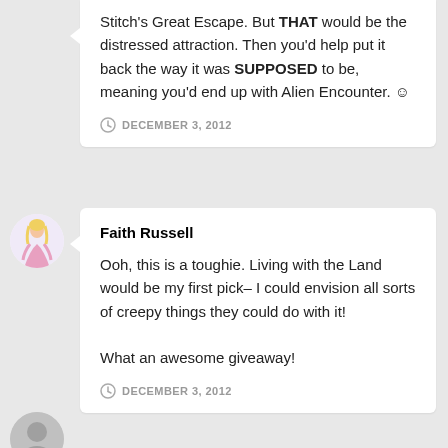Stitch's Great Escape. But THAT would be the distressed attraction. Then you'd help put it back the way it was SUPPOSED to be, meaning you'd end up with Alien Encounter. ☺
DECEMBER 3, 2012
Faith Russell
Ooh, this is a toughie. Living with the Land would be my first pick– I could envision all sorts of creepy things they could do with it!

What an awesome giveaway!
DECEMBER 3, 2012